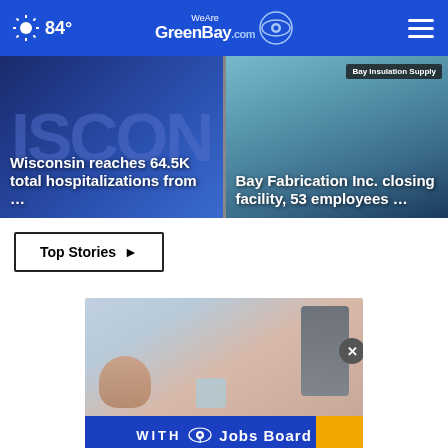84° WeAreGreenBay.com
[Figure (screenshot): News card: Wisconsin reaches 64.5K total hospitalizations from ...]
[Figure (screenshot): News card: Bay Fabrication Inc. closing facility, 53 employees ... (Bay Insulation Supply sign visible)]
Top Stories ▶
[Figure (photo): Partial photo of person's legs/feet with tattoos, holding a cup; advertisement overlay showing WITH CBS3 Jobs Board]